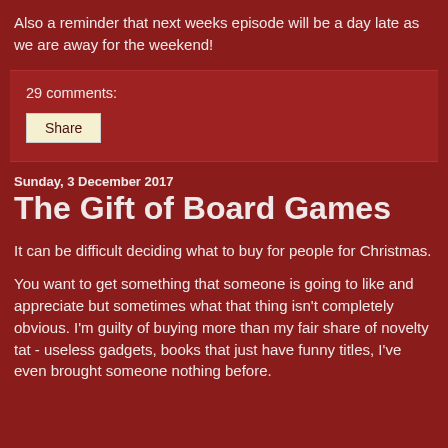Also a reminder that next weeks episode will be a day late as we are away for the weekend!
29 comments:
Share
Sunday, 3 December 2017
The Gift of Board Games
It can be difficult deciding what to buy for people for Christmas.
You want to get something that someone is going to like and appreciate but sometimes what that thing isn't completely obvious. I'm guilty of buying more than my fair share of novelty tat - useless gadgets, books that just have funny titles, I've even brought someone nothing before.